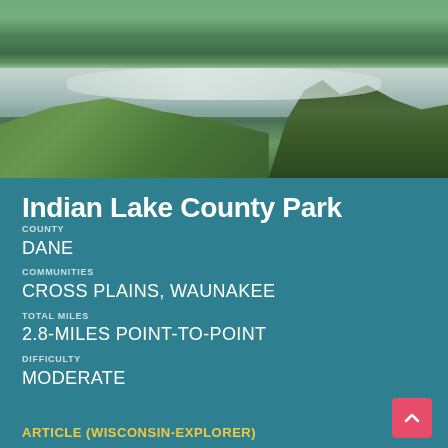[Figure (photo): Scenic landscape photo of Indian Lake County Park showing a calm lake or river reflecting clouds and sky, with green grassy banks on the left, lush trees and vegetation on the right and background.]
Indian Lake County Park
COUNTY
DANE
COMMUNITIES
CROSS PLAINS, WAUNAKEE
TOTAL MILES
2.8-MILES POINT-TO-POINT
DIFFICULTY
MODERATE
ARTICLE (WISCONSIN-EXPLORER)